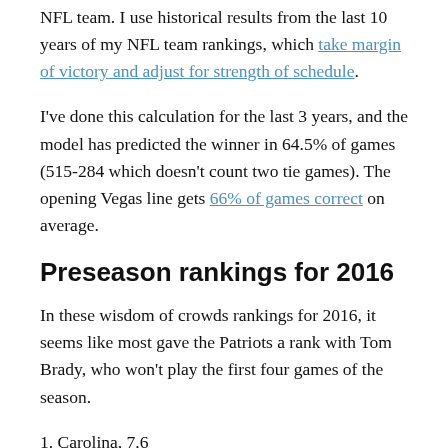NFL team. I use historical results from the last 10 years of my NFL team rankings, which take margin of victory and adjust for strength of schedule.
I've done this calculation for the last 3 years, and the model has predicted the winner in 64.5% of games (515-284 which doesn't count two tie games). The opening Vegas line gets 66% of games correct on average.
Preseason rankings for 2016
In these wisdom of crowds rankings for 2016, it seems like most gave the Patriots a rank with Tom Brady, who won't play the first four games of the season.
1. Carolina, 7.6